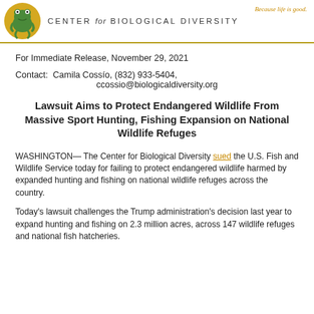CENTER for BIOLOGICAL DIVERSITY — Because life is good.
For Immediate Release, November 29, 2021
Contact: Camila Cossío, (832) 933-5404, ccossio@biologicaldiversity.org
Lawsuit Aims to Protect Endangered Wildlife From Massive Sport Hunting, Fishing Expansion on National Wildlife Refuges
WASHINGTON— The Center for Biological Diversity sued the U.S. Fish and Wildlife Service today for failing to protect endangered wildlife harmed by expanded hunting and fishing on national wildlife refuges across the country.
Today's lawsuit challenges the Trump administration's decision last year to expand hunting and fishing on 2.3 million acres, across 147 wildlife refuges and national fish hatcheries.